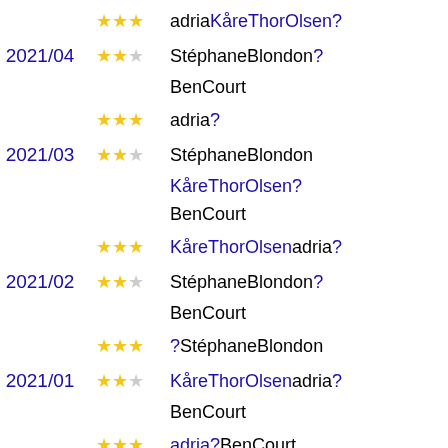[globe] ★★★ adria KåreThorOlsen ?
2021/04 ★★☆ StéphaneBlondon ? BenCourt
[globe] ★★★ adria ?
2021/03 ★★☆ StéphaneBlondon KåreThorOlsen ? BenCourt
[globe] ★★★ KåreThorOlsen adria ?
2021/02 ★★☆ StéphaneBlondon ? BenCourt
[globe] ★★★ ?StéphaneBlondon
2021/01 ★★☆ KåreThorOlsen adria ? BenCourt
[globe] ★★★ adria ?BenCourt
2020/12 ★★☆ KåreThorOlsen ? StéphaneBlondon
[globe] ★★★ KåreThorOlsen adria ?
2020/11 ★★☆ BenCourt ? StéphaneBlondon